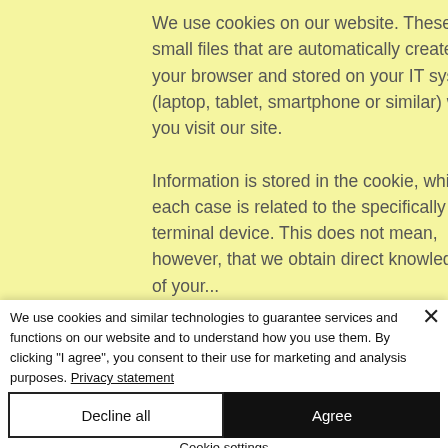We use cookies on our website. These are small files that are automatically created by your browser and stored on your IT system (laptop, tablet, smartphone or similar) when you visit our site.

Information is stored in the cookie, which in each case is related to the specifically used terminal device. This does not mean, however, that we obtain direct knowledge of your...
We use cookies and similar technologies to guarantee services and functions on our website and to understand how you use them. By clicking "I agree", you consent to their use for marketing and analysis purposes. Privacy statement
Decline all
Agree
Cookie settings